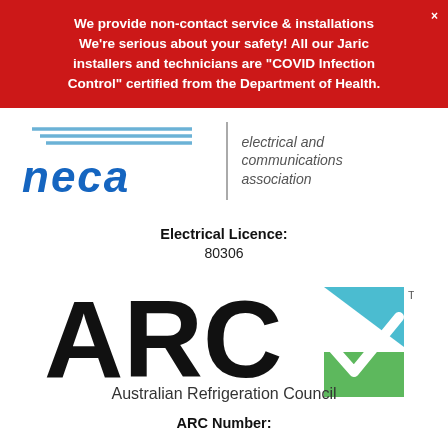We provide non-contact service & installations We're serious about your safety! All our Jaric installers and technicians are "COVID Infection Control" certified from the Department of Health.
[Figure (logo): NECA (National Electrical and Communications Association) logo with blue lines, bold blue 'neca' text, vertical divider, and text 'electrical and communications association']
Electrical Licence:
80306
[Figure (logo): ARC (Australian Refrigeration Council) logo with large black 'ARC' text and a blue/green checkmark icon, plus text 'Australian Refrigeration Council']
ARC Number: